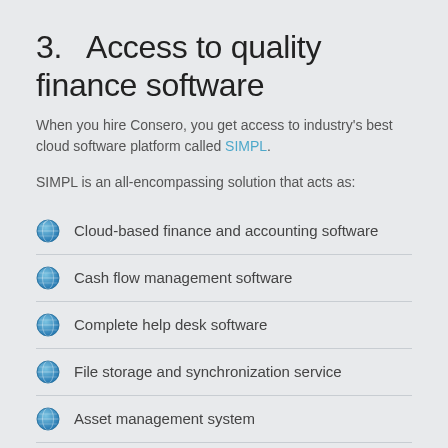3.   Access to quality finance software
When you hire Consero, you get access to industry's best cloud software platform called SIMPL.
SIMPL is an all-encompassing solution that acts as:
Cloud-based finance and accounting software
Cash flow management software
Complete help desk software
File storage and synchronization service
Asset management system
SIMPL also acts as a home away from...